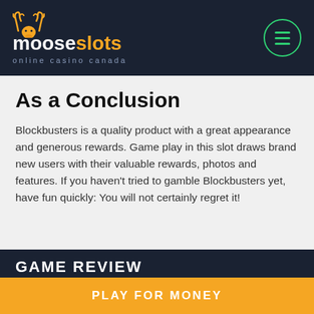mooseslots online casino canada
As a Conclusion
Blockbusters is a quality product with a great appearance and generous rewards. Game play in this slot draws brand new users with their valuable rewards, photos and features. If you haven't tried to gamble Blockbusters yet, have fun quickly: You will not certainly regret it!
GAME REVIEW
Software: ................................................ Fremantlemedia
PLAY FOR MONEY